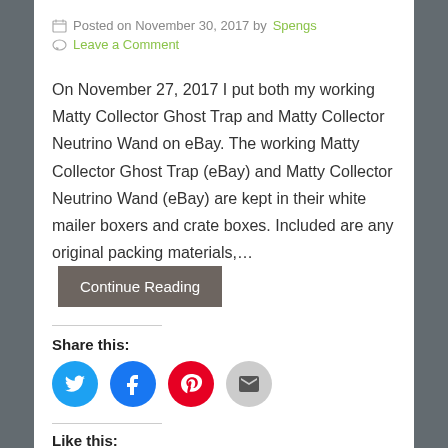Posted on November 30, 2017 by Spengs
Leave a Comment
On November 27, 2017 I put both my working Matty Collector Ghost Trap and Matty Collector Neutrino Wand on eBay. The working Matty Collector Ghost Trap (eBay) and Matty Collector Neutrino Wand (eBay) are kept in their white mailer boxers and crate boxes. Included are any original packing materials,…
Continue Reading
Share this:
[Figure (illustration): Social share icons: Twitter (blue circle), Facebook (blue circle), Pinterest (red circle), Email (gray circle)]
Like this:
[Figure (illustration): Like button with star icon and a small green thumbnail image]